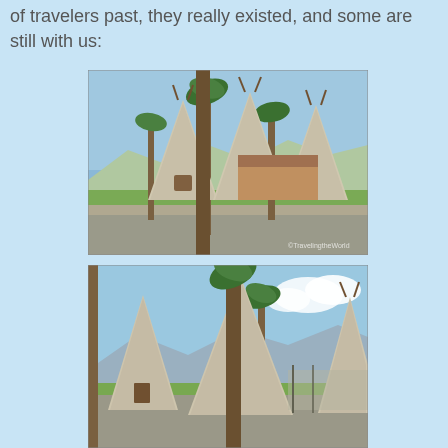of travelers past, they really existed, and some are still with us:
[Figure (photo): Photograph of teepee-shaped motel buildings surrounded by palm trees on a grassy lawn, with blue sky above. A watermark reads ©TravelingtheWorld.]
[Figure (photo): Second photograph of the same teepee-shaped motel buildings from a different angle, showing three large concrete teepees with palm trees and mountains in the background.]